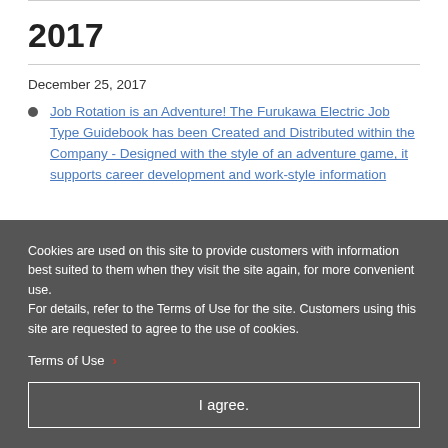2017
December 25, 2017
Job Rotation is an Adventure! The Furukawa Electric Job Type Guidebook has been Created and Distributed within the Company - Designed with the style of an adventure game, it supports career development and work-style information
Cookies are used on this site to provide customers with information best suited to them when they visit the site again, for more convenient use.
For details, refer to the Terms of Use for the site. Customers using this site are requested to agree to the use of cookies.
Terms of Use
I agree.